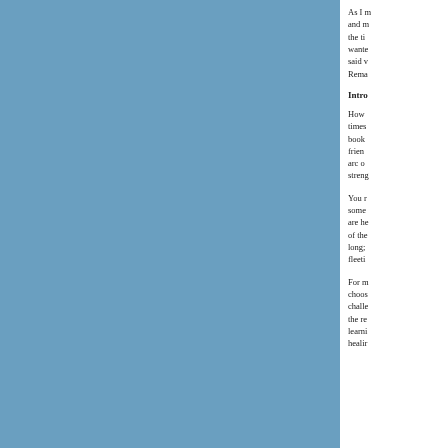As I m and m the ti wante said v Rema
Intro
How times book frien arc o stren
You r some are he of the long; fleeti
For m choos challe the re learni healir